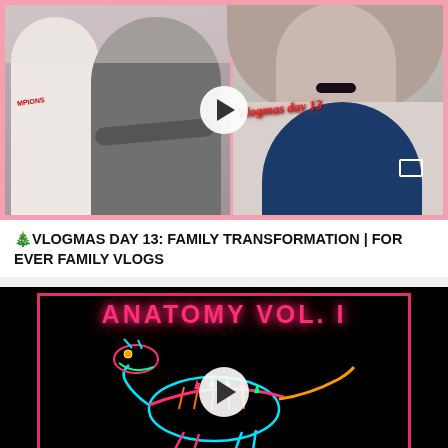[Figure (screenshot): Video thumbnail for Vlogmas Day 13 Family Transformation. Left side shows two boys with arms crossed, right side shows a woman with dark lipstick and another person seated. Pink border frame. Play button overlay. Text 'Vlogmas day 13' in red cursive.]
🎄VLOGMAS DAY 13: FAMILY TRANSFORMATION | FOR EVER FAMILY VLOGS
[Figure (screenshot): Video thumbnail for Anatomy Vol. 1. Black background with a colorful neon dinosaur skeleton illustration inside a pink/red rectangular border. Text 'ANATOMY VOL. 1' in large pink pixel-style letters at top. Play button overlay in center.]